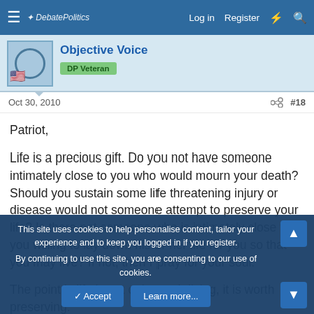DebatePolitics — Log in  Register
Objective Voice
DP Veteran
Oct 30, 2010   #18
Patriot,

Life is a precious gift. Do you not have someone intimately close to you who would mourn your death? Should you sustain some life threatening injury or disease would not someone attempt to preserve your life? Is there not someone who is intimately close to you willing to lay down his or her life for you so that you may live? If not, then I pray for your soul.

The point is life is not only worth living, it is worth preserving.
This site uses cookies to help personalise content, tailor your experience and to keep you logged in if you register.
By continuing to use this site, you are consenting to our use of cookies.
Accept   Learn more...